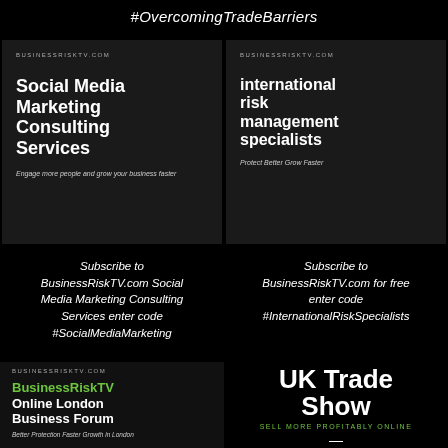#OvercomingTradeBarriers
[Figure (infographic): Dark card with BUSINESSRISKTV.COM header, bold title 'Social Media Marketing Consulting Services', italic subtext 'Engage more people and grow your business faster']
[Figure (infographic): Dark card with BUSINESSRISKTV.COM header, bold lowercase title 'international risk management specialists', italic subtext 'Protect Better Grow Faster']
Subscribe to BusinessRiskTV.com Social Media Marketing Consulting Services enter code #SocialMediaMarketing
Subscribe to BusinessRiskTV.com for free enter code #InternationalRiskSpecialists
[Figure (infographic): Dark card with BUSINESSRISKTV.COM header, green and white bold title 'BusinessRiskTV Online London Business Forum', subtext 'Better Protection Faster Growth in London']
[Figure (infographic): White bold text 'UK Trade Show', green uppercase 'SELL MORE PROFITABLY ONLINE', dash, BUSINESSRISKTV.COM in grey uppercase]